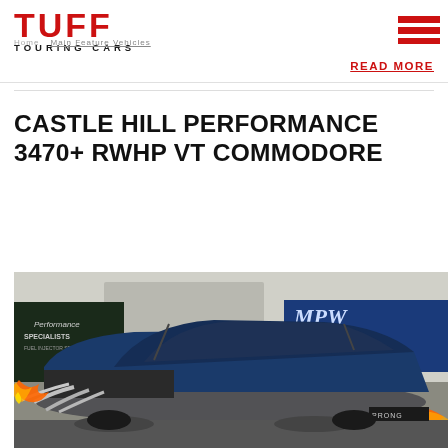TUFF TOURING CARS
READ MORE
CASTLE HILL PERFORMANCE 3470+ RWHP VT COMMODORE
[Figure (photo): A blue VT Commodore race car on a dynamometer with flames shooting from the exhaust headers. MPW Performance banner visible in the background.]